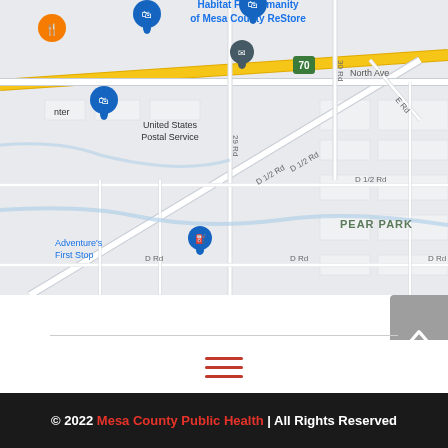[Figure (map): Google Maps screenshot showing area around North Ave and 29 Rd in Grand Junction, Mesa County, Colorado. Shows Habitat For Humanity of Mesa County ReStore, United States Postal Service, Adventure's First Stop fuel station, D 1/2 Rd, D Rd, 30 Rd, E Rd, and PEAR PARK neighborhood. Interstate 70 runs diagonally across the map.]
[Figure (other): Red hamburger menu icon (three horizontal lines) centered on white background]
© 2022 Mesa County Public Health | All Rights Reserved